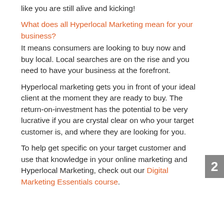like you are still alive and kicking!
What does all Hyperlocal Marketing mean for your business?
It means consumers are looking to buy now and buy local. Local searches are on the rise and you need to have your business at the forefront.
Hyperlocal marketing gets you in front of your ideal client at the moment they are ready to buy. The return-on-investment has the potential to be very lucrative if you are crystal clear on who your target customer is, and where they are looking for you.
To help get specific on your target customer and use that knowledge in your online marketing and Hyperlocal Marketing, check out our Digital Marketing Essentials course.